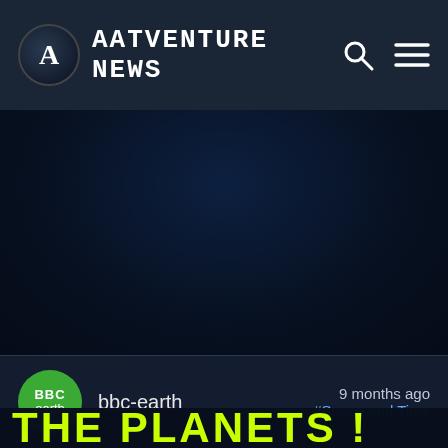AAtVEntuRE NEwS
[Figure (photo): Dark space/night sky hero image with deep blue-black gradient background]
bbc-earth   9 months ago   #Space and Time
THE PLANETS !